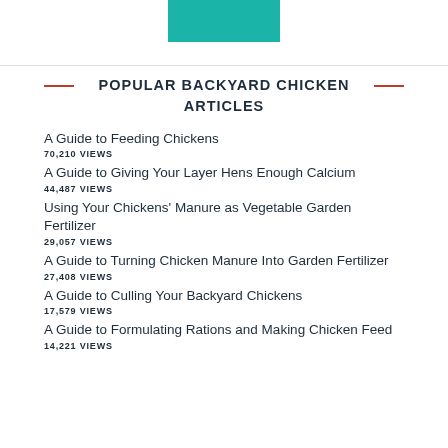[Figure (other): Teal/turquoise colored rectangular block at the top of the page, partial view]
POPULAR BACKYARD CHICKEN ARTICLES
A Guide to Feeding Chickens
70,210 views
A Guide to Giving Your Layer Hens Enough Calcium
44,487 views
Using Your Chickens' Manure as Vegetable Garden Fertilizer
29,057 views
A Guide to Turning Chicken Manure Into Garden Fertilizer
27,408 views
A Guide to Culling Your Backyard Chickens
17,579 views
A Guide to Formulating Rations and Making Chicken Feed
14,221 views